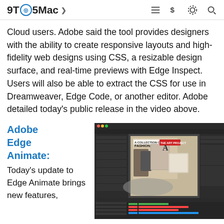9TO5Mac
Cloud users. Adobe said the tool provides designers with the ability to create responsive layouts and high-fidelity web designs using CSS, a resizable design surface, and real-time previews with Edge Inspect. Users will also be able to extract the CSS for use in Dreamweaver, Edge Code, or another editor. Adobe detailed today’s public release in the video above.
Adobe Edge Animate:
Today’s update to Edge Animate brings new features,
[Figure (screenshot): Screenshot of Adobe Edge Animate application showing a dark-themed UI with a canvas displaying a fashion-themed design with images and colorful timeline tracks at the bottom.]